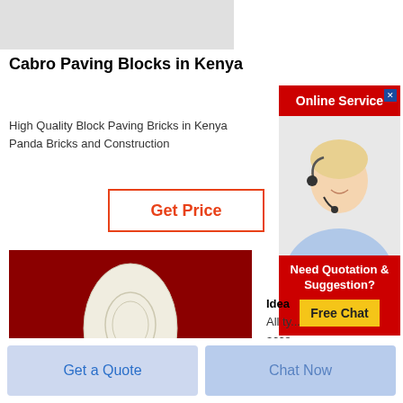[Figure (photo): Gray placeholder image bar at top]
Cabro Paving Blocks in Kenya
High Quality Block Paving Bricks in Kenya Panda Bricks and Construction
[Figure (other): Get Price button with red/orange border]
[Figure (photo): Photo of a white ovoid/bulb-shaped object on a red background]
[Figure (other): Online Service advertisement popup with agent photo, Need Quotation & Suggestion, Free Chat button]
Idea
All ty... acce...
[Figure (other): Get a Quote button (light blue)]
[Figure (other): Chat Now button (light blue)]